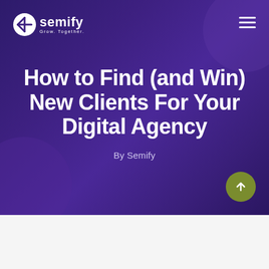[Figure (logo): Semify logo with snowflake/asterisk icon and tagline 'Grow. Together.']
How to Find (and Win) New Clients For Your Digital Agency
By Semify